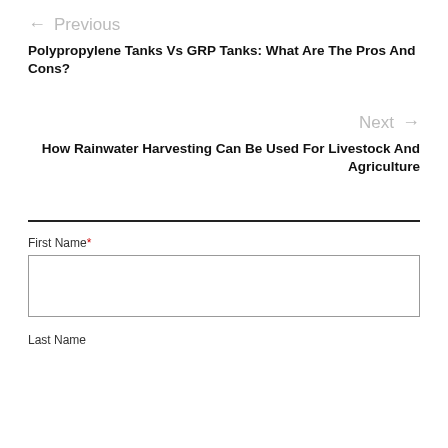← Previous
Polypropylene Tanks Vs GRP Tanks: What Are The Pros And Cons?
Next →
How Rainwater Harvesting Can Be Used For Livestock And Agriculture
First Name*
Last Name